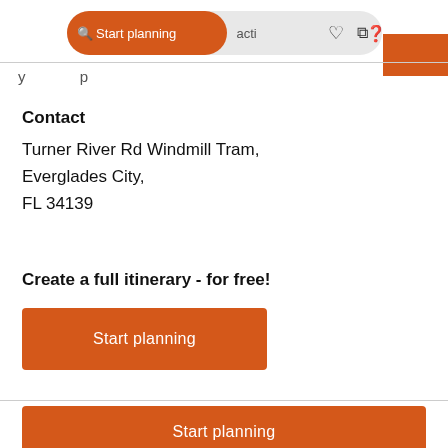Start planning  activities
Contact
Turner River Rd Windmill Tram, Everglades City, FL 34139
Create a full itinerary - for free!
Start planning
Start planning